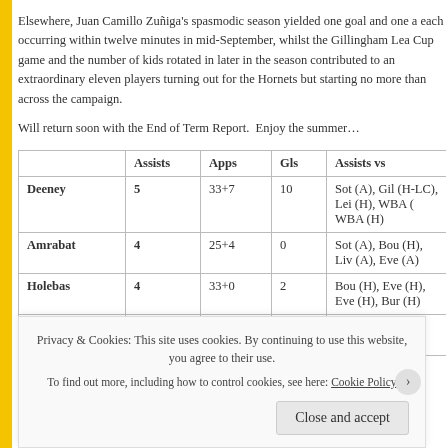Elsewhere, Juan Camillo Zuñiga's spasmodic season yielded one goal and one a each occurring within twelve minutes in mid-September, whilst the Gillingham Lea Cup game and the number of kids rotated in later in the season contributed to an extraordinary eleven players turning out for the Hornets but starting no more than across the campaign.
Will return soon with the End of Term Report.  Enjoy the summer…
|  | Assists | Apps | Gls | Assists vs |
| --- | --- | --- | --- | --- |
| Deeney | 5 | 33+7 | 10 | Sot (A), Gil (H-LC), Lei (H), WBA ( WBA (H) |
| Amrabat | 4 | 25+4 | 0 | Sot (A), Bou (H), Liv (A), Eve (A) |
| Holebas | 4 | 33+0 | 2 | Bou (H), Eve (H), Eve (H), Bur (H) |
| Pereyra | 3 | 12+1 | 2 | WHU (A), MaU (H), Lei (H) |
Privacy & Cookies: This site uses cookies. By continuing to use this website, you agree to their use. To find out more, including how to control cookies, see here: Cookie Policy